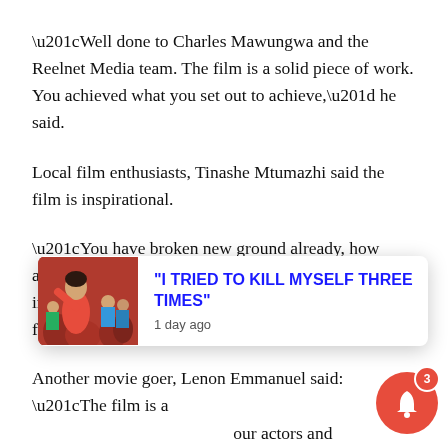“Well done to Charles Mawungwa and the Reelnet Media team. The film is a solid piece of work. You achieved what you set out to achieve,” he said.
Local film enthusiasts, Tinashe Mtumazhi said the film is inspirational.
“You have broken new ground already, how about taking it further around the country and introduce the rest of Zimbabwe to good Zimbabwean film,” he said.
Another movie goer, Lenon Emmanuel said: “The film is a [popup obscures] our actors and [popup obscures] film kept the edge of the seat.”
[Figure (screenshot): Popup notification overlay showing a thumbnail image of a woman in red, headline text 'I TRIED TO KILL MYSELF THREE TIMES' in blue uppercase bold, and timestamp '1 day ago'. A dark circular X close button appears above the popup. A red circular notification bell with badge count 3 appears at bottom right.]